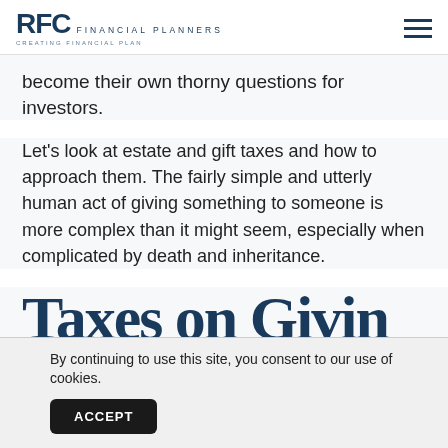RFC FINANCIAL PLANNERS
become their own thorny questions for investors.
Let's look at estate and gift taxes and how to approach them. The fairly simple and utterly human act of giving something to someone is more complex than it might seem, especially when complicated by death and inheritance.
Taxes on Giving
By continuing to use this site, you consent to our use of cookies.